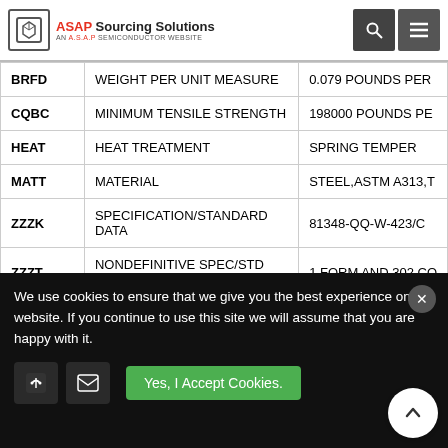ASAP Sourcing Solutions - AN A.S.A.P SEMICONDUCTOR WEBSITE
| Code | Description | Value |
| --- | --- | --- |
| BRFD | WEIGHT PER UNIT MEASURE | 0.079 POUNDS PER |
| CQBC | MINIMUM TENSILE STRENGTH | 198000 POUNDS PE |
| HEAT | HEAT TREATMENT | SPRING TEMPER |
| MATT | MATERIAL | STEEL,ASTM A313,T |
| ZZZK | SPECIFICATION/STANDARD DATA | 81348-QQ-W-423/C |
| ZZZT | NONDEFINITIVE SPEC/STD DATA | 1 FORM AND 302 CO |
| ZZZW | DEPARTURE FROM CITED DOCUMENT | AS MODIFIED BY SU |
|  |  |  |
Explore More Relevant NSN List for 9505000043522
We use cookies to ensure that we give you the best experience on our website. If you continue to use this site we will assume that you are happy with it.
Yes, I Accept Cookies.